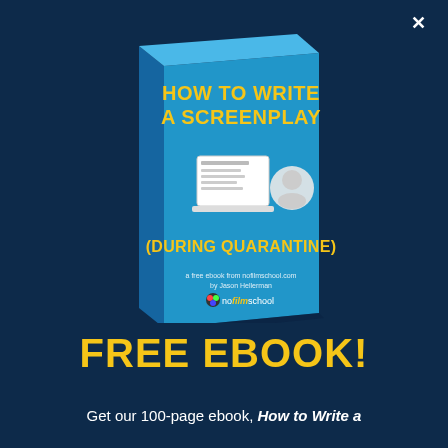[Figure (illustration): 3D book cover titled 'HOW TO WRITE A SCREENPLAY (DURING QUARANTINE)' with a laptop graphic and nofilmschool logo on a blue background, displayed at an angle like a physical book]
FREE EBOOK!
Get our 100-page ebook, How to Write a